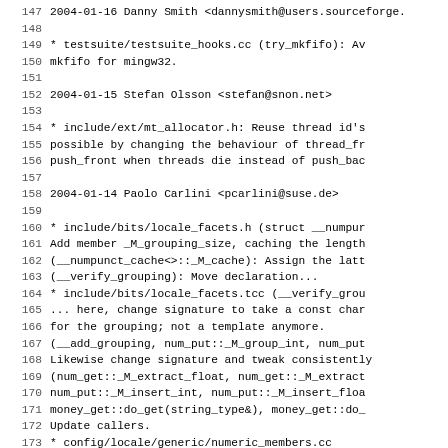147 2004-01-16  Danny Smith  <dannysmith@users.sourceforge.
148
149         * testsuite/testsuite_hooks.cc (try_mkfifo): Av
150         mkfifo for mingw32.
151
152 2004-01-15  Stefan Olsson  <stefan@snon.net>
153
154         * include/ext/mt_allocator.h: Reuse thread id's
155         possible by changing the behaviour of thread_fr
156         push_front when threads die instead of push_bac
157
158 2004-01-14  Paolo Carlini  <pcarlini@suse.de>
159
160         * include/bits/locale_facets.h (struct __numpur
161         Add member _M_grouping_size, caching the length
162         (__numpunct_cache<>::_M_cache): Assign the latt
163         (__verify_grouping): Move declaration...
164         * include/bits/locale_facets.tcc (__verify_grou
165         ... here, change signature to take a const char
166         for the grouping; not a template anymore.
167         (__add_grouping, num_put::_M_group_int, num_put
168         Likewise change signature and tweak consistently
169         (num_get::_M_extract_float, num_get::_M_extract
170         num_put::_M_insert_int, num_put::_M_insert_floa
171         money_get::do_get(string_type&), money_get::do_
172         Update callers.
173         * config/locale/generic/numeric_members.cc
174         (numpunct<>::_M_initialize_numpunct): Assign th
175         * config/locale/gnu/numeric_members.cc
176         (numpunct<>::_M_initialize_numpunct): Likewise.
177         * src/locale-inst.cc (__add_grouping): Tweak si
178         (__verify_grouping): Don't instantiate, not a t